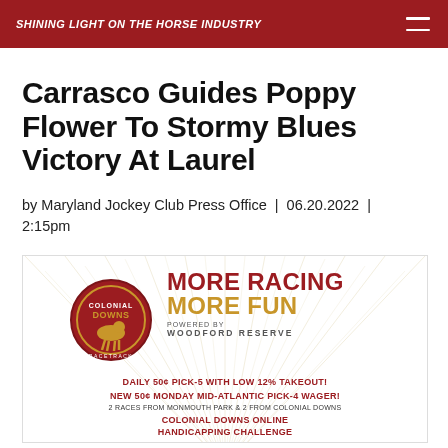SHINING LIGHT ON THE HORSE INDUSTRY
Carrasco Guides Poppy Flower To Stormy Blues Victory At Laurel
by Maryland Jockey Club Press Office | 06.20.2022 | 2:15pm
[Figure (infographic): Colonial Downs advertisement with logo, 'MORE RACING MORE FUN powered by WOODFORD RESERVE', daily 50¢ Pick-5 with low 12% takeout, new 50¢ Monday Mid-Atlantic Pick-4 wager, 2 races from Monmouth Park & 2 from Colonial Downs, Colonial Downs Online Handicapping Challenge]